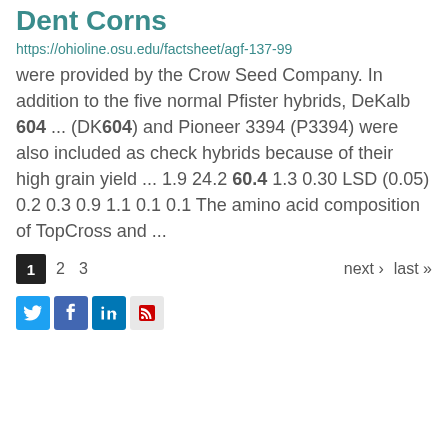Dent Corns
https://ohioline.osu.edu/factsheet/agf-137-99
were provided by the Crow Seed Company. In addition to the five normal Pfister hybrids, DeKalb 604 ... (DK604) and Pioneer 3394 (P3394) were also included as check hybrids because of their high grain yield ... 1.9 24.2 60.4 1.3 0.30 LSD (0.05) 0.2 0.3 0.9 1.1 0.1 0.1 The amino acid composition of TopCross and ...
1  2  3  next › last »